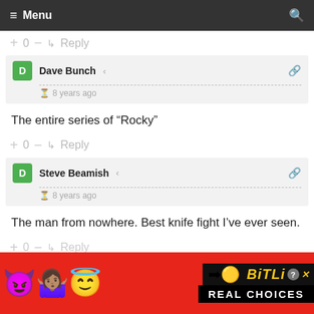Menu
+ 0 — ↳ Reply
Dave Bunch · 8 years ago
The entire series of “Rocky”
+ 0 — ↳ Reply
Steve Beamish · 8 years ago
The man from nowhere. Best knife fight I’ve ever seen.
+ 0 — Reply
[Figure (illustration): BitLife advertisement banner with devil emoji, woman shrugging emoji, angel emoji, sperm graphic, BitLife logo in yellow on black, and 'REAL CHOICES' text in white on black background, all on red background.]